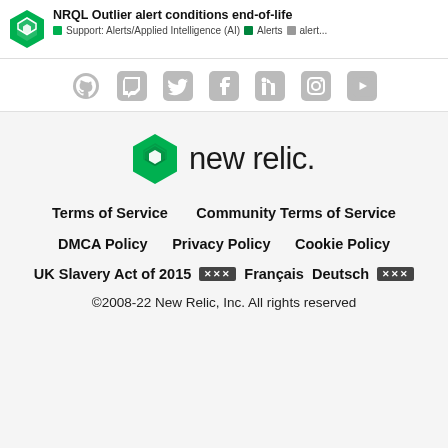NRQL Outlier alert conditions end-of-life | Support: Alerts/Applied Intelligence (AI) | Alerts | alert...
[Figure (illustration): Social media icons row: GitHub, Twitch, Twitter, Facebook, LinkedIn, Instagram, YouTube — all in gray]
[Figure (logo): New Relic logo: green angular icon followed by 'new relic.' logotype in dark text]
Terms of Service   Community Terms of Service
DMCA Policy   Privacy Policy   Cookie Policy
UK Slavery Act of 2015  xxx  Français  Deutsch  xxx
©2008-22 New Relic, Inc. All rights reserved